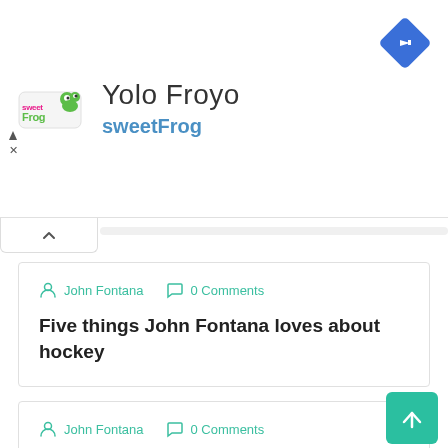[Figure (screenshot): sweetFrog advertisement banner with logo, brand name 'Yolo Froyo', subtitle 'sweetFrog', navigation arrow icon, and ad control icons]
John Fontana   0 Comments
Five things John Fontana loves about hockey
John Fontana   0 Comments
You can't compare USA Hockey's win over Russia at Sochi to the cultural event at Lake Placid